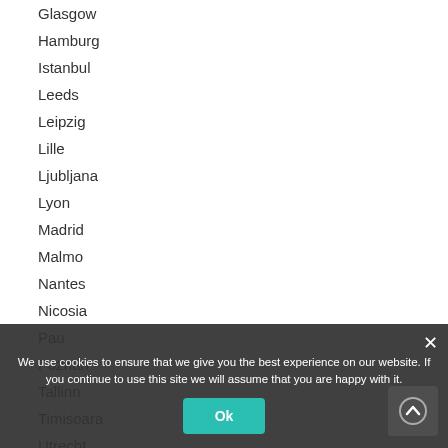Glasgow
Hamburg
Istanbul
Leeds
Leipzig
Lille
Ljubljana
Lyon
Madrid
Malmo
Nantes
Nicosia
Pau
Poznan
Tallinn
Timisoara
Utrecht
Vantaa
Warsaw
Zagreb
Zaragoza
We use cookies to ensure that we give you the best experience on our website. If you continue to use this site we will assume that you are happy with it.